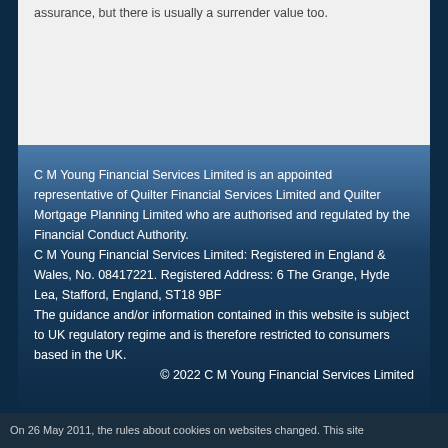assurance, but there is usually a surrender value too.
C M Young Financial Services Limited is an appointed representative of Quilter Financial Services Limited and Quilter Mortgage Planning Limited who are authorised and regulated by the Financial Conduct Authority.
C M Young Financial Services Limited: Registered in England & Wales, No. 08417221. Registered Address: 6 The Grange, Hyde Lea, Stafford, England, ST18 9BF
The guidance and/or information contained in this website is subject to UK regulatory regime and is therefore restricted to consumers based in the UK.
© 2022 C M Young Financial Services Limited
On 26 May 2011, the rules about cookies on websites changed. This site